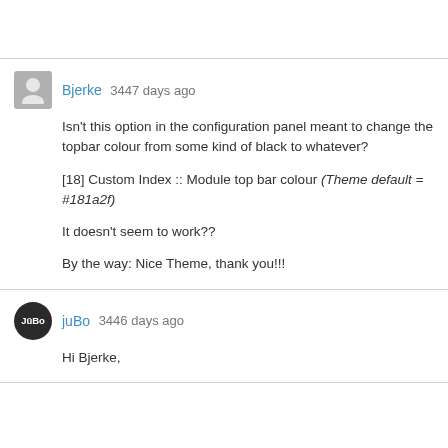Bjerke 3447 days ago
Isn't this option in the configuration panel meant to change the topbar colour from some kind of black to whatever?

[18] Custom Index :: Module top bar colour (Theme default = #181a2f)

It doesn't seem to work??

By the way: Nice Theme, thank you!!!
juBo 3446 days ago
Hi Bjerke,